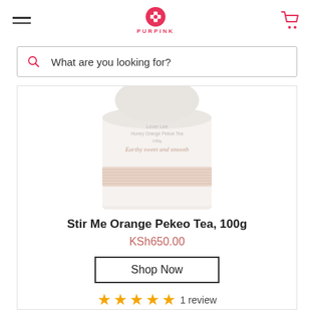PURPINK
What are you looking for?
[Figure (photo): Product image of Stir Me Orange Pekeo Tea 100g canister, white cylindrical tin with decorative patterned band, text 'Earthy sweet and smooth' on lower portion]
Stir Me Orange Pekeo Tea, 100g
KSh650.00
Shop Now
1 review